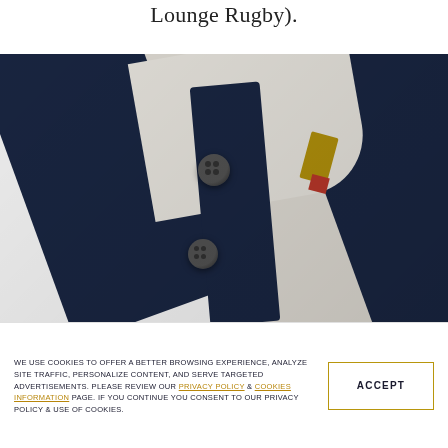Lounge Rugby).
[Figure (photo): Close-up photograph of a navy blue and white striped rugby shirt showing buttons on the placket, collar, and clothing label tag.]
WE USE COOKIES TO OFFER A BETTER BROWSING EXPERIENCE, ANALYZE SITE TRAFFIC, PERSONALIZE CONTENT, AND SERVE TARGETED ADVERTISEMENTS. PLEASE REVIEW OUR PRIVACY POLICY & COOKIES INFORMATION PAGE. IF YOU CONTINUE YOU CONSENT TO OUR PRIVACY POLICY & USE OF COOKIES.
ACCEPT